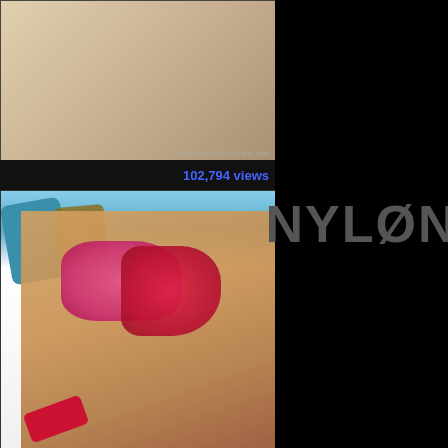[Figure (photo): Top photo showing partial view of person on bed with white bedding, watermark reading www.OnlySilkAndSatin.com]
102,794 views
[Figure (photo): Blonde woman lying on white bed wearing pink lingerie top, pink underwear, and red satin robe, with red high-heel sandals]
NYLON